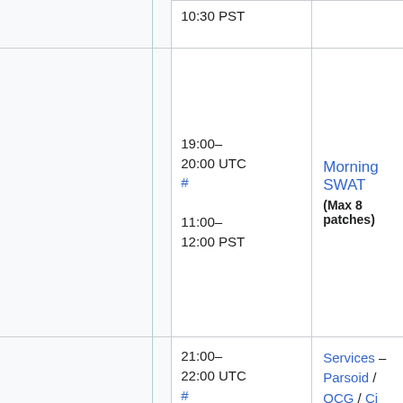| (left col) | Time | Content |
| --- | --- | --- |
|  | 10:30 PST |  |
|  | 19:00–20:00 UTC
#
11:00–12:00 PST | Morning SWAT
(Max 8 patches) |
|  | 21:00–22:00 UTC
# | Services – Parsoid / OCG / Ci
Mobileapps / ORES / ... |